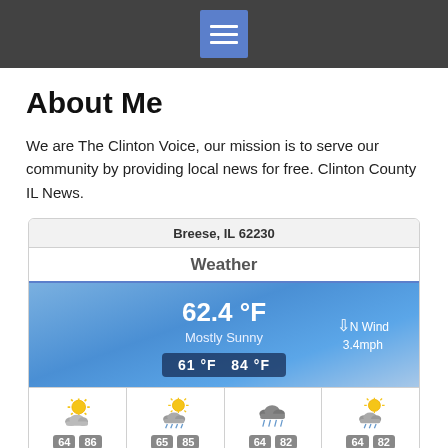[Menu icon]
About Me
We are The Clinton Voice, our mission is to serve our community by providing local news for free.  Clinton County IL News.
[Figure (infographic): Weather widget showing Breese, IL 62230. Current temp 62.4°F, Mostly Sunny, N Wind 3.4mph. Low 61°F High 84°F. Forecast: FRI 64/86 partly cloudy, SAT 65/85 partly cloudy with rain, SUN 64/82 cloudy with rain, MON 64/82 partly cloudy with rain.]